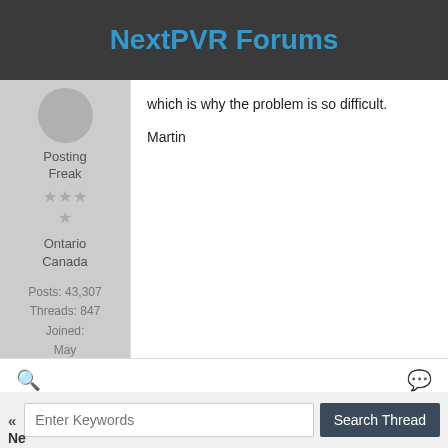NextPVR Forums
which is why the problem is so difficult.
Martin
Posting Freak
Ontario Canada
Posts: 43,307 Threads: 847 Joined: May 2006
Enter Keywords
Search Thread